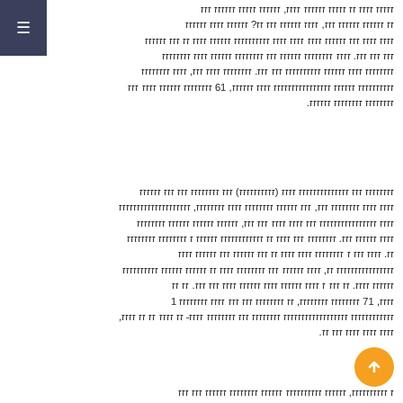☰
טקסט בשפה העברית - פסקה ראשונה עם תוכן הכולל מספר 16 ומידע נוסף.
טקסט בשפה העברית - פסקה שנייה עם תוכן הכולל מספרים 17 ו-10 ומידע נוסף.
טקסט בשפה העברית - תחילת פסקה שלישית.